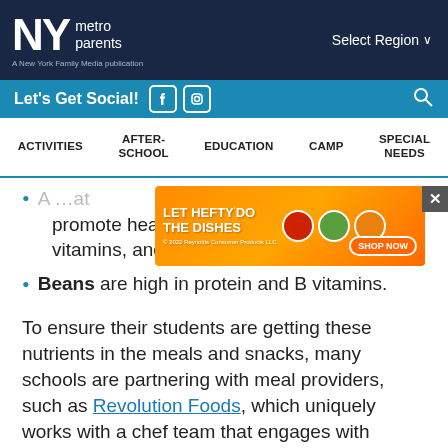NY metro parents — A New York Family Media publication — Select Region
Let's Get Social!
ACTIVITIES  AFTER-SCHOOL  EDUCATION  CAMP  SPECIAL NEEDS
[Figure (other): Hefty advertisement banner: LET HEFTY DO THE DISHES with product images and SHOP NOW button]
[partially visible] ...at promote healthy blood flow in the brain, B vitamins, and more.
Beans are high in protein and B vitamins.
To ensure their students are getting these nutrients in the meals and snacks, many schools are partnering with meal providers, such as Revolution Foods, which uniquely works with a chef team that engages with students throughout the development process to craft